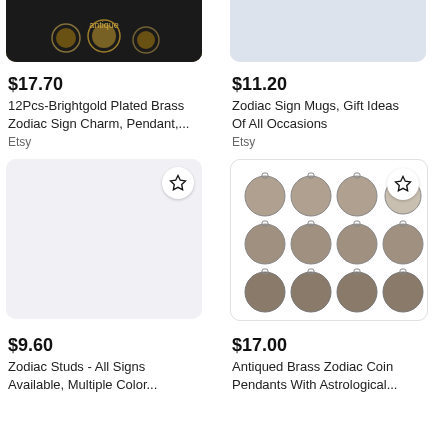[Figure (photo): Cropped top of product image showing gold-plated brass zodiac charms on dark background]
[Figure (photo): Cropped top of product image showing zodiac sign mug on light blue/grey background]
$17.70
12Pcs-Brightgold Plated Brass Zodiac Sign Charm, Pendant,...
Etsy
$11.20
Zodiac Sign Mugs, Gift Ideas Of All Occasions
Etsy
[Figure (photo): Light grey/white placeholder image for Zodiac Studs product with star/bookmark icon]
[Figure (photo): Photo of antiqued brass zodiac coin pendants arranged in 3x4 grid showing 12 zodiac signs with star/bookmark icon]
$9.60
Zodiac Studs - All Signs Available, Multiple Color...
$17.00
Antiqued Brass Zodiac Coin Pendants With Astrological...